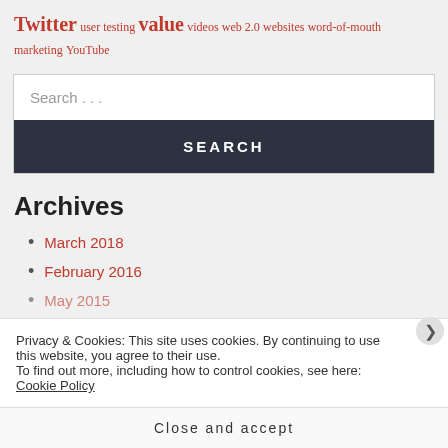Twitter user testing value videos web 2.0 websites word-of-mouth marketing YouTube
Search ...
SEARCH
Archives
March 2018
February 2016
May 2015
Privacy & Cookies: This site uses cookies. By continuing to use this website, you agree to their use.
To find out more, including how to control cookies, see here: Cookie Policy
Close and accept